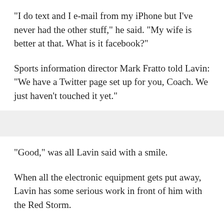"I do text and I e-mail from my iPhone but I've never had the other stuff," he said. "My wife is better at that. What is it facebook?"
Sports information director Mark Fratto told Lavin: "We have a Twitter page set up for you, Coach. We just haven't touched it yet."
"Good," was all Lavin said with a smile.
When all the electronic equipment gets put away, Lavin has some serious work in front of him with the Red Storm.
There are 10 seniors back from last season, which